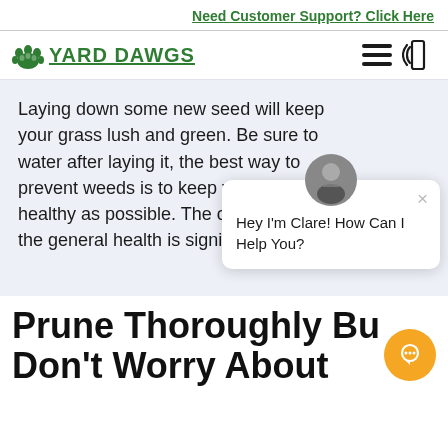Need Customer Support? Click Here
[Figure (logo): Yard Dawgs logo with paw print icon and green underlined text]
Laying down some new seed will keep your grass lush and green. Be sure to water after laying it, the best way to prevent weeds is to keep your grass as healthy as possible. The overall impact on the general health is significant.
[Figure (screenshot): Chat popup widget showing avatar of Clare with message: Hey I'm Clare! How Can I Help You? with a close X button]
Prune Thoroughly But Don't Worry About